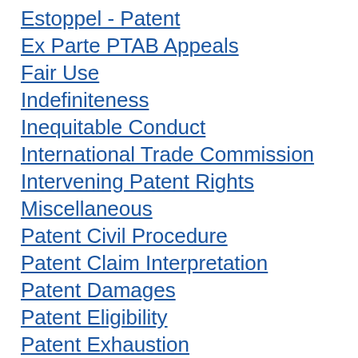Estoppel - Patent
Ex Parte PTAB Appeals
Fair Use
Indefiniteness
Inequitable Conduct
International Trade Commission
Intervening Patent Rights
Miscellaneous
Patent Civil Procedure
Patent Claim Interpretation
Patent Damages
Patent Eligibility
Patent Exhaustion
Patent Experts
Patent Infringement
Patent Licenses